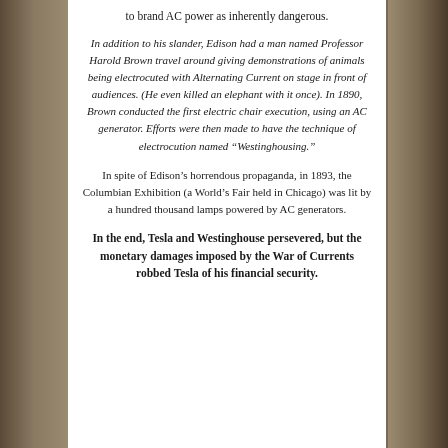to brand AC power as inherently dangerous.
In addition to his slander, Edison had a man named Professor Harold Brown travel around giving demonstrations of animals being electrocuted with Alternating Current on stage in front of audiences. (He even killed an elephant with it once). In 1890, Brown conducted the first electric chair execution, using an AC generator. Efforts were then made to have the technique of electrocution named “Westinghousing.”
In spite of Edison’s horrendous propaganda, in 1893, the Columbian Exhibition (a World’s Fair held in Chicago) was lit by a hundred thousand lamps powered by AC generators.
In the end, Tesla and Westinghouse persevered, but the monetary damages imposed by the War of Currents robbed Tesla of his financial security.